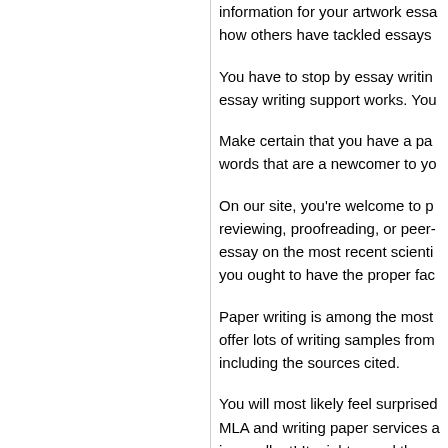information for your artwork essa how others have tackled essays
You have to stop by essay writin essay writing support works. You
Make certain that you have a pa words that are a newcomer to yo
On our site, you're welcome to p reviewing, proofreading, or peer- essay on the most recent scienti you ought to have the proper fac
Paper writing is among the most offer lots of writing samples from including the sources cited.
You will most likely feel surprised MLA and writing paper services a is excellent! It might sound there